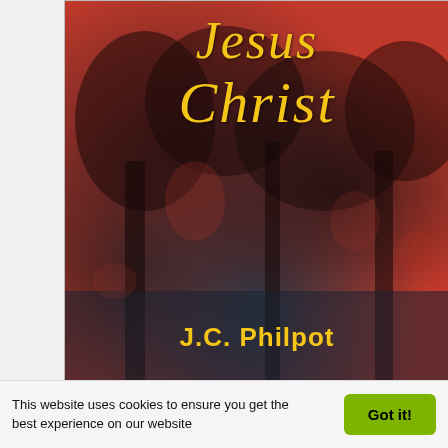[Figure (illustration): Book cover showing 'Jesus Christ' by J.C. Philpot. Red/dark atmospheric background with tree silhouettes. Title in gold italic script at top, author name in gold bold text at bottom.]
This website uses cookies to ensure you get the best experience on our website
Got it!